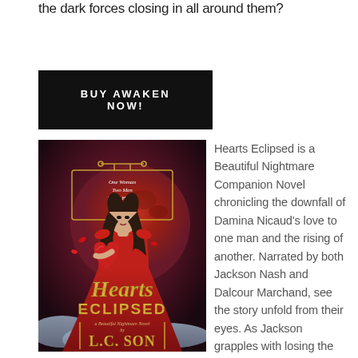the dark forces closing in all around them?
BUY AWAKEN NOW!
[Figure (illustration): Book cover for 'Hearts Eclipsed' by L.C. Son – A Beautiful Nightmare Novel. Shows a woman in a red dress holding a glowing red heart, with a large red moon in the background. Gold decorative script title reads 'Hearts Eclipsed'. Tagline: 'One Woman. Two Men. Three Hearts.']
Hearts Eclipsed is a Beautiful Nightmare Companion Novel chronicling the downfall of Damina Nicaud's love to one man and the rising of another. Narrated by both Jackson Nash and Dalcour Marchand, see the story unfold from their eyes. As Jackson grapples with losing the love of his life, he must overcome a dark